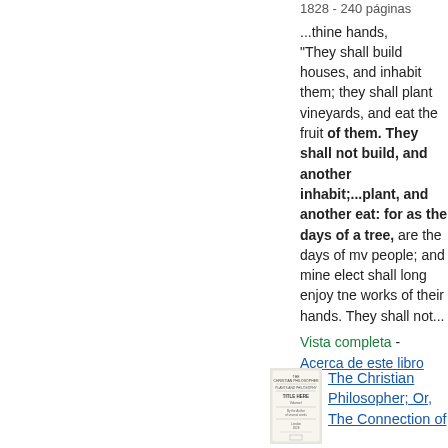1828 - 240 páginas
...thine hands, "They shall build houses, and inhabit them; they shall plant vineyards, and eat the fruit of them. They shall not build, and another inhabit;...plant, and another eat: for as the days of a tree, are the days of mv people; and mine elect shall long enjoy tne works of their hands. They shall not...
Vista completa - Acerca de este libro
[Figure (illustration): Thumbnail image of a book cover for The Christian Philosopher; Or, The Connection of]
The Christian Philosopher; Or, The Connection of